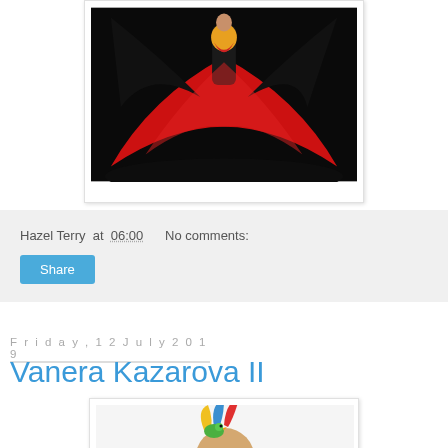[Figure (photo): Performer on dark stage wearing dramatic red flowing cape/dress with yellow accent top, arms outstretched creating wide red wing-like shape]
Hazel Terry at 06:00   No comments:
Share
Friday, 12 July 2019
Vanera Kazarova II
[Figure (photo): Person with colorful bird (parrot with yellow, blue, red feathers) on their head, partial view from top of head]